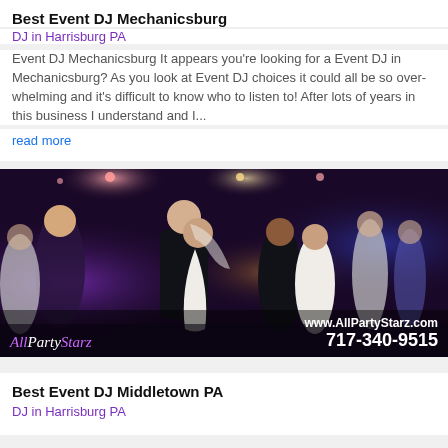Best Event DJ Mechanicsburg
DJ in Harrisburg PA
Event DJ Mechanicsburg It appears you’re looking for a Event DJ in Mechanicsburg? As you look at Event DJ choices it could all be so over-whelming and it’s difficult to know who to listen to! After lots of years in this business I understand and I...
read more
[Figure (photo): Wedding reception dance floor photo with bride and groom dancing, guests in background, purple/pink lighting. AllPartyStarz logo and contact info: www.AllPartyStarz.com, 717-340-9515]
Best Event DJ Middletown PA
DJ in Harrisburg PA